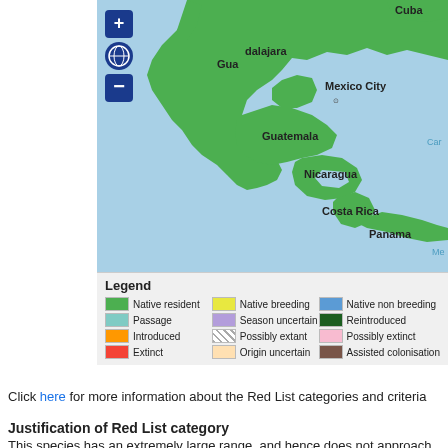[Figure (map): Geographic distribution map showing species range across Mexico, Central America (Guatemala, Nicaragua, Costa Rica, Panama) and Cuba. Green shading indicates native resident range covering most of Mexico through Central America. Map includes navigation controls (zoom in/out) and labels for Guadalajara, Mexico City, Guatemala, Nicaragua, Costa Rica, Panama, Cuba, and partial labels for Caribbean and Me(xico?).]
Legend: Native resident, Native breeding, Native non breeding, Passage, Season uncertain, Reintroduced, Introduced, Possibly extant, Possibly extinct, Extinct, Origin uncertain, Assisted colonisation
Click here for more information about the Red List categories and criteria
Justification of Red List category
This species has an extremely large range, and hence does not approach the thresholds for Vulnerable under the range size criterion (Extent of Occurrence <20,000 km² combined with a declining or fluctuating range size, habitat extent/quality, or population size and a small number of locations or severe fragmentation). Despite the fact